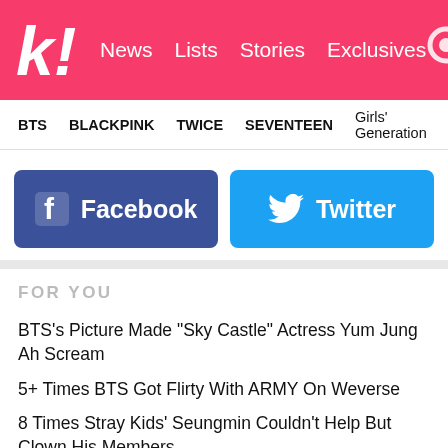k! News Lists Stories Exclusives
BTS  BLACKPINK  TWICE  SEVENTEEN  Girls' Generation
[Figure (infographic): Facebook and Twitter social share buttons]
FOR YOU
BTS's Picture Made "Sky Castle" Actress Yum Jung Ah Scream
5+ Times BTS Got Flirty With ARMY On Weverse
8 Times Stray Kids' Seungmin Couldn't Help But Clown His Members
BLACKPINK Lights Up Seoul, New York, And Los Angeles